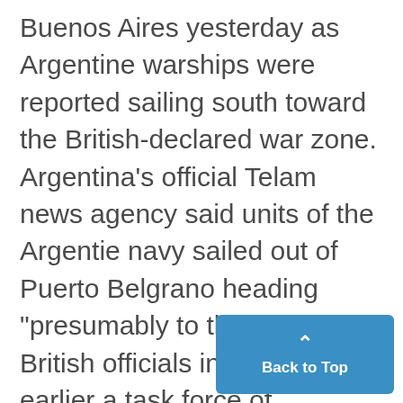Buenos Aires yesterday as Argentine warships were reported sailing south toward the British-declared war zone. Argentina's official Telam news agency said units of the Argentie navy sailed out of Puerto Belgrano heading "presumably to the south." British officials in London said earlier a task force of Argentina's 31-ship navy might try skirting the 200-mile war zone around the Falklands, which Britain had ruled since 1933 and Argentine forces seized April 2. Telam did not say how many sh